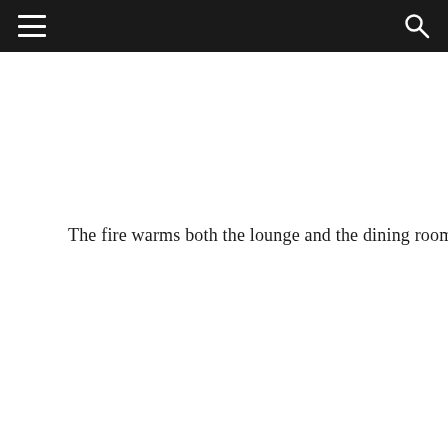Navigation bar with hamburger menu and search icon
The fire warms both the lounge and the dining room